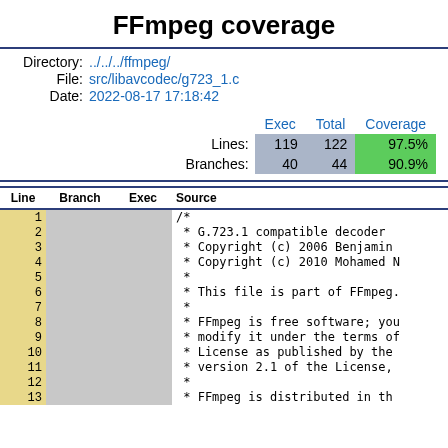FFmpeg coverage
Directory: ../../../ffmpeg/
File: src/libavcodec/g723_1.c
Date: 2022-08-17 17:18:42
|  | Exec | Total | Coverage |
| --- | --- | --- | --- |
| Lines: | 119 | 122 | 97.5% |
| Branches: | 40 | 44 | 90.9% |
| Line | Branch | Exec | Source |
| --- | --- | --- | --- |
| 1 |  |  | /* |
| 2 |  |  | * G.723.1 compatible decoder |
| 3 |  |  | * Copyright (c) 2006 Benjamin |
| 4 |  |  | * Copyright (c) 2010 Mohamed N |
| 5 |  |  | * |
| 6 |  |  | * This file is part of FFmpeg. |
| 7 |  |  | * |
| 8 |  |  | * FFmpeg is free software; you |
| 9 |  |  | * modify it under the terms of |
| 10 |  |  | * License as published by the |
| 11 |  |  | * version 2.1 of the License, |
| 12 |  |  | * |
| 13 |  |  | * FFmpeg is distributed in th |